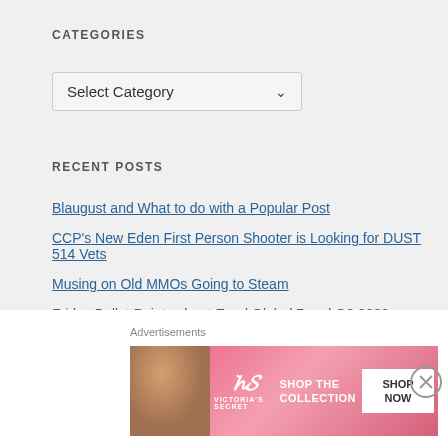CATEGORIES
Select Category
RECENT POSTS
Blaugust and What to do with a Popular Post
CCP's New Eden First Person Shooter is Looking for DUST 514 Vets
Musing on Old MMOs Going to Steam
Friday Bullet Points about Enad Global 7 and Q2 2022
Caldari Union Day 2022 Celebrations Commence in EVE Online
Around Nagrand to Durn the Hungerer
[Figure (screenshot): Advertisement banner for Victoria's Secret with a model, VS logo, 'SHOP THE COLLECTION' text, and 'SHOP NOW' button on a pink background]
Advertisements